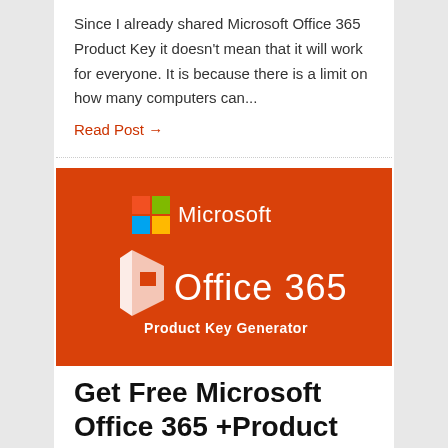Since I already shared Microsoft Office 365 Product Key it doesn't mean that it will work for everyone. It is because there is a limit on how many computers can...
Read Post →
[Figure (logo): Microsoft Office 365 Product Key Generator promotional banner on orange/red background with Microsoft logo and Office 365 icon]
Get Free Microsoft Office 365 +Product Key Generator T...